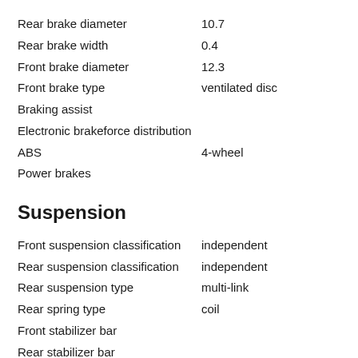Rear brake diameter   10.7
Rear brake width   0.4
Front brake diameter   12.3
Front brake type   ventilated disc
Braking assist
Electronic brakeforce distribution
ABS   4-wheel
Power brakes
Suspension
Front suspension classification   independent
Rear suspension classification   independent
Rear suspension type   multi-link
Rear spring type   coil
Front stabilizer bar
Rear stabilizer bar